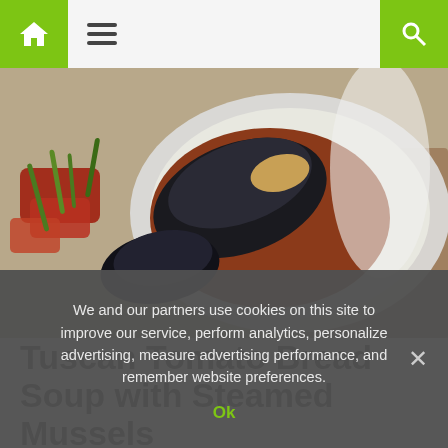Navigation bar with home, menu, and search icons
[Figure (photo): Close-up food photo of steamed mussels in a white bowl with tomato sauce and green herb garnish on a textured surface]
Tuscan Tomato Bread Soup with Steamed Mussels
There are many versions of bread soup; this one, based on traditional peasant fare, is as thick as a bread pudding. The soup is delicious on its
We and our partners use cookies on this site to improve our service, perform analytics, personalize advertising, measure advertising performance, and remember website preferences.
Ok